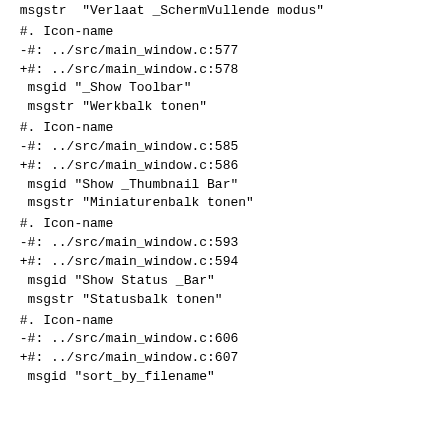msgstr "Verlaat _SchermVullende modus"
#. Icon-name
-#: ../src/main_window.c:577
+#: ../src/main_window.c:578
 msgid "_Show Toolbar"
 msgstr "Werkbalk tonen"
#. Icon-name
-#: ../src/main_window.c:585
+#: ../src/main_window.c:586
 msgid "Show _Thumbnail Bar"
 msgstr "Miniaturenbalk tonen"
#. Icon-name
-#: ../src/main_window.c:593
+#: ../src/main_window.c:594
 msgid "Show Status _Bar"
 msgstr "Statusbalk tonen"
#. Icon-name
-#: ../src/main_window.c:606
+#: ../src/main_window.c:607
 msgid "sort_by_filename"